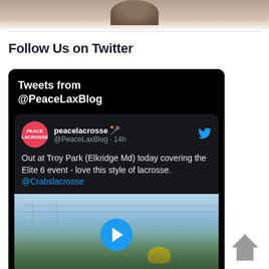[Figure (photo): Partial view of a person's head/profile photo at the top of the page]
Follow Us on Twitter
[Figure (screenshot): Twitter widget showing tweets from @PeaceLaxBlog. Tweet by peacelacrosse @PeaceLaxBlog 14h: Out at Troy Park (Elkridge Md) today covering the Elite 6 event - love this style of lacrosse. @Crabslacrosse. Below is a video thumbnail of lacrosse players with a play button.]